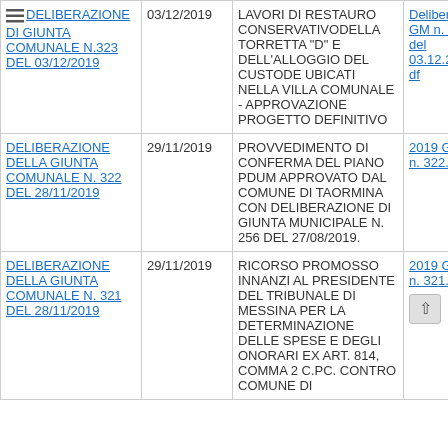| Atto | Data | Oggetto | Allegato |
| --- | --- | --- | --- |
| DELIBERAZIONE DI GIUNTA COMUNALE N.323 DEL 03/12/2019 | 03/12/2019 | LAVORI DI RESTAURO CONSERVATIVODELLA TORRETTA "D" E DELL'ALLOGGIO DEL CUSTODE UBICATI NELLA VILLA COMUNALE - APPROVAZIONE PROGETTO DEFINITIVO | Delibera di GM n. 323 del 03.12.2019.pdf |
| DELIBERAZIONE DELLA GIUNTA COMUNALE N. 322 DEL 28/11/2019 | 29/11/2019 | PROVVEDIMENTO DI CONFERMA DEL PIANO PDUM APPROVATO DAL COMUNE DI TAORMINA CON DELIBERAZIONE DI GIUNTA MUNICIPALE N. 256 DEL 27/08/2019. | 2019 GM Del n. 322.pdf |
| DELIBERAZIONE DELLA GIUNTA COMUNALE N. 321 DEL 28/11/2019 | 29/11/2019 | RICORSO PROMOSSO INNANZI AL PRESIDENTE DEL TRIBUNALE DI MESSINA PER LA DETERMINAZIONE DELLE SPESE E DEGLI ONORARI EX ART. 814, COMMA 2 C.PC. CONTRO COMUNE DI | 2019 GM Del n. 321.pdf |